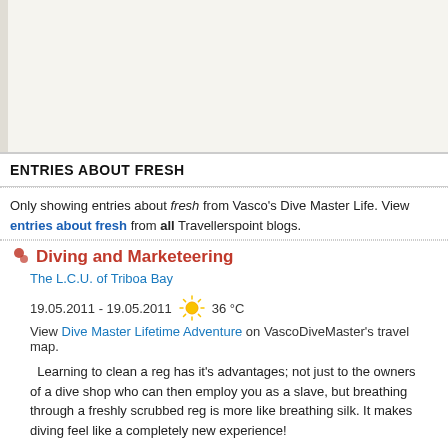[Figure (other): Top image area, partially visible, appears to be a blank or cut-off image region with beige/off-white background and left border]
ENTRIES ABOUT FRESH
Only showing entries about fresh from Vasco's Dive Master Life. View entries about fresh from all Travellerspoint blogs.
Diving and Marketeering
The L.C.U. of Triboa Bay
19.05.2011 - 19.05.2011  36 °C
View Dive Master Lifetime Adventure on VascoDiveMaster's travel map.
Learning to clean a reg has it's advantages; not just to the owners of a dive shop who can then employ you as a slave, but breathing through a freshly scrubbed reg is more like breathing silk. It makes diving feel like a completely new experience!